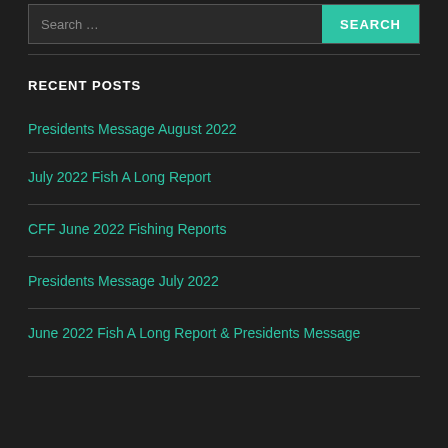Search ...
RECENT POSTS
Presidents Message August 2022
July 2022 Fish A Long Report
CFF June 2022 Fishing Reports
Presidents Message July 2022
June 2022 Fish A Long Report & Presidents Message